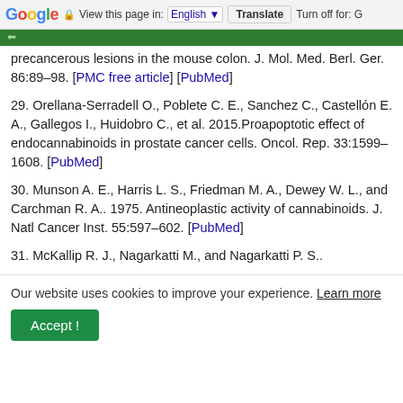Google | View this page in: English | Translate | Turn off for: G
precancerous lesions in the mouse colon. J. Mol. Med. Berl. Ger. 86:89–98. [PMC free article] [PubMed]
29. Orellana-Serradell O., Poblete C. E., Sanchez C., Castellón E. A., Gallegos I., Huidobro C., et al. 2015.Proapoptotic effect of endocannabinoids in prostate cancer cells. Oncol. Rep. 33:1599–1608. [PubMed]
30. Munson A. E., Harris L. S., Friedman M. A., Dewey W. L., and Carchman R. A.. 1975. Antineoplastic activity of cannabinoids. J. Natl Cancer Inst. 55:597–602. [PubMed]
31. McKallip R. J., Nagarkatti M., and Nagarkatti P. S..
Our website uses cookies to improve your experience. Learn more
Accept !